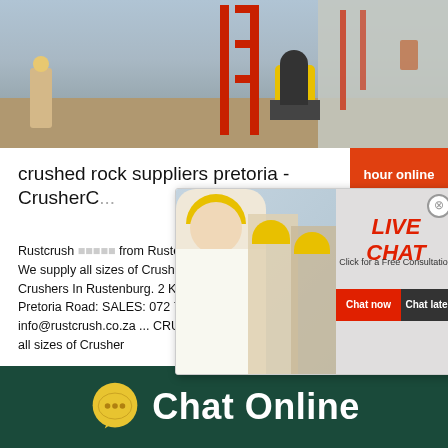[Figure (photo): Construction site photo showing workers, red scaffolding, yellow equipment, and a concrete wall in the background.]
crushed rock suppliers pretoria - CrusherC...
Rustcrush ... from Ruste... 002 - Mail ... We supply all sizes of Crusher Rustcrush ... Crushers In Rustenburg. 2 Km from Ruste... Pretoria Road: SALES: 072 7481 002 - M... info@rustcrush.co.za ... CRUSHED STO... all sizes of Crusher
[Figure (screenshot): Live Chat popup overlay with construction workers in yellow helmets on the left, and LIVE CHAT / Click for a Free Consultation text with Chat now and Chat later buttons on the right.]
hour online
Click to chat
Enquiry
[Figure (illustration): Chat Online bottom bar with a yellow speech bubble icon and white Chat Online text on a dark green background.]